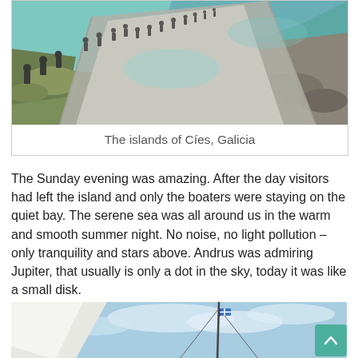[Figure (photo): Aerial/ground view of a stone causeway/pier over clear blue-green water at the islands of Cíes, Galicia. People walking on the path, rocks and green water visible.]
The islands of Cíes, Galicia
The Sunday evening was amazing. After the day visitors had left the island and only the boaters were staying on the quiet bay. The serene sea was all around us in the warm and smooth summer night. No noise, no light pollution – only tranquility and stars above. Andrus was admiring Jupiter, that usually is only a dot in the sky, today it was like a small disk.
[Figure (photo): Bottom portion of a sailing boat photo showing mast, sail, blue sky with clouds, and a small flag.]